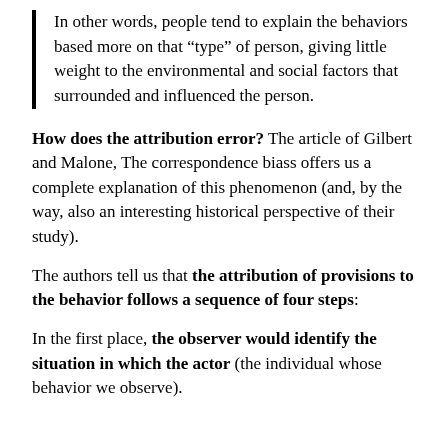In other words, people tend to explain the behaviors based more on that “type” of person, giving little weight to the environmental and social factors that surrounded and influenced the person.
How does the attribution error? The article of Gilbert and Malone, The correspondence biass offers us a complete explanation of this phenomenon (and, by the way, also an interesting historical perspective of their study).
The authors tell us that the attribution of provisions to the behavior follows a sequence of four steps:
In the first place, the observer would identify the situation in which the actor (the individual whose behavior we observe).